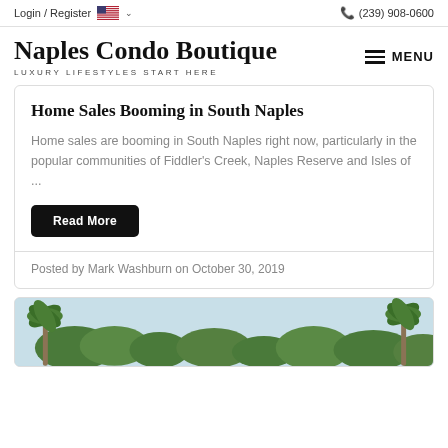Login / Register  (239) 908-0600
Naples Condo Boutique
LUXURY LIFESTYLES START HERE
Home Sales Booming in South Naples
Home sales are booming in South Naples right now, particularly in the popular communities of Fiddler's Creek, Naples Reserve and Isles of ...
Read More
Posted by Mark Washburn on October 30, 2019
[Figure (photo): Outdoor photo showing tropical palm trees and green trees against a light blue sky]